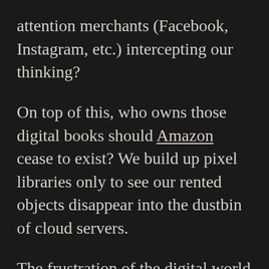attention merchants (Facebook, Instagram, etc.) intercepting our thinking?
On top of this, who owns those digital books should Amazon cease to exist? We build up pixel libraries only to see our rented objects disappear into the dustbin of cloud servers.
The frustration of the digital world lies in its unfettered Balkanized packaging, where platforms may remain agnostic but resist PDF neutrality. We can’t finish nor find anything anyway because of the confused mass. The internet never ends.